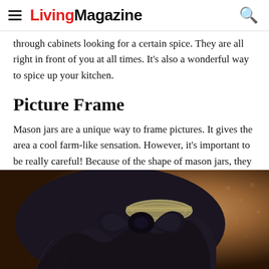LivingMagazine
through cabinets looking for a certain spice. They are all right in front of you at all times. It’s also a wonderful way to spice up your kitchen.
Picture Frame
Mason jars are a unique way to frame pictures. It gives the area a cool farm-like sensation. However, it’s important to be really careful! Because of the shape of mason jars, they could make for some crazy optical illusions.
[Figure (photo): Close-up photo of a dark navy/black ruffled fabric ribbon tied around the metal lid of a mason jar, set against a warm copper/brown textured background.]